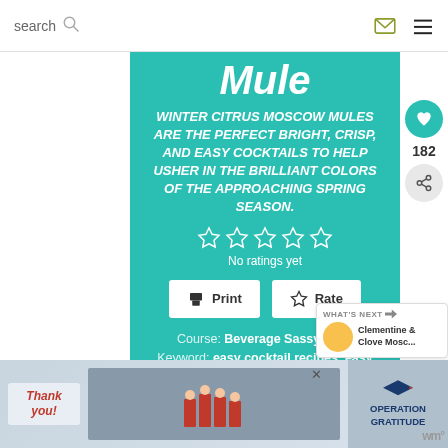search
Mule
WINTER CITRUS MOSCOW MULES ARE THE PERFECT BRIGHT, CRISP, AND EASY COCKTAILS TO HELP USHER IN THE BRILLIANT COLORS OF THE APPROACHING SPRING SEASON.
No ratings yet
Print
Rate
Course: Beverage Sassy Hour
Keyword: easy cocktail recipes, easy drink recipes, moscow mule, moscow mule recipe, winter citrus, winter citrus
182
WHAT'S NEXT
Clementine & Clove Mosc...
[Figure (infographic): Advertisement banner with 'Thank you!' text, firefighters photo, and Operation Gratitude logo]